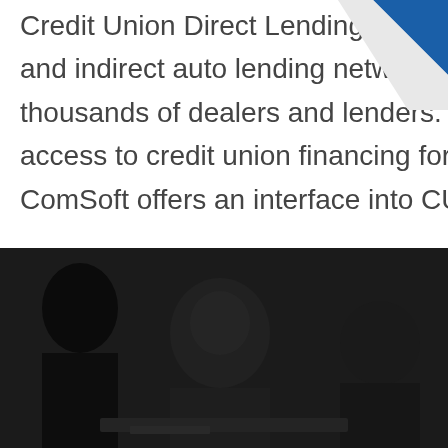Credit Union Direct Lending (CUDL) is the largest point-of-sale and indirect auto lending network of credit unions, representing thousands of dealers and lenders. The CUDL network provides access to credit union financing for dealers in all 50 states. ComSoft offers an interface into CUDL.
[Figure (photo): Dark-toned photo of business people in a meeting, partially silhouetted, sitting around a table with documents]